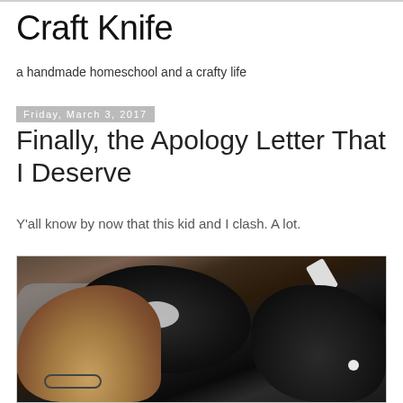Craft Knife
a handmade homeschool and a crafty life
Friday, March 3, 2017
Finally, the Apology Letter That I Deserve
Y'all know by now that this kid and I clash. A lot.
[Figure (photo): A photo of a person with curly light brown hair and glasses lying down with two dark-colored dogs or cats. A phone is visible in the upper right. One animal has blue collar visible.]